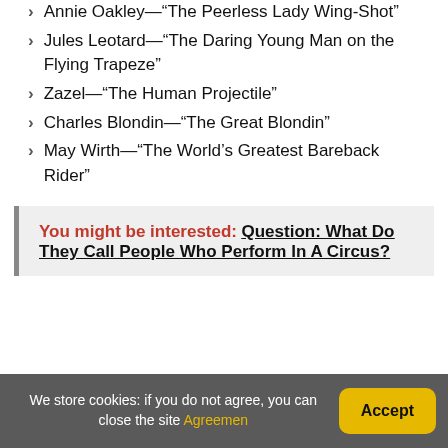Annie Oakley—“The Peerless Lady Wing-Shot”
Jules Leotard—“The Daring Young Man on the Flying Trapeze”
Zazel—“The Human Projectile”
Charles Blondin—“The Great Blondin”
May Wirth—“The World’s Greatest Bareback Rider”
You might be interested: Question: What Do They Call People Who Perform In A Circus?
We store cookies: if you do not agree, you can close the site Agreemen